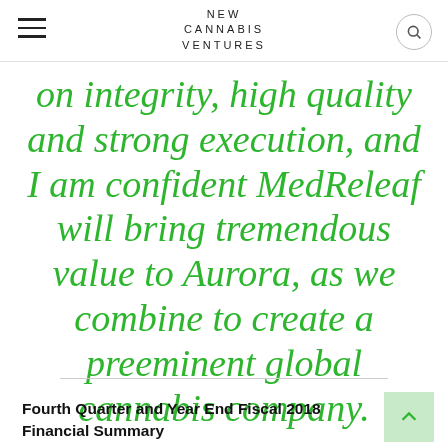NEW CANNABIS VENTURES
on integrity, high quality and strong execution, and I am confident MedReleaf will bring tremendous value to Aurora, as we combine to create a preeminent global cannabis company.
Fourth Quarter and Year End Fiscal 2018 Financial Summary